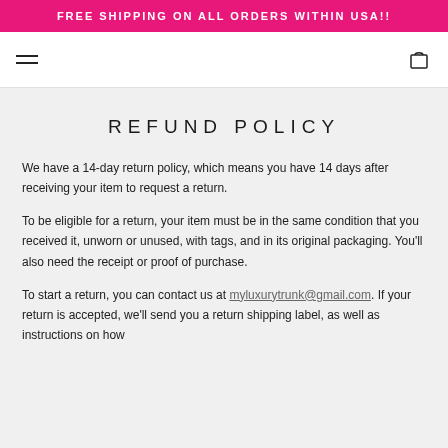FREE SHIPPING ON ALL ORDERS WITHIN USA!!
REFUND POLICY
We have a 14-day return policy, which means you have 14 days after receiving your item to request a return.
To be eligible for a return, your item must be in the same condition that you received it, unworn or unused, with tags, and in its original packaging. You'll also need the receipt or proof of purchase.
To start a return, you can contact us at myluxurytrunk@gmail.com. If your return is accepted, we'll send you a return shipping label, as well as instructions on how